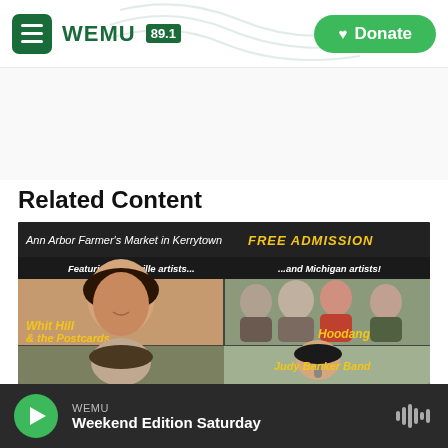WEMU 89.1 — Donate
Related Content
[Figure (photo): Event poster for Ann Arbor Farmer's Market in Kerrytown, FREE ADMISSION. Featuring Nashville artists (Whit Hill & the Postcards) and Michigan artists (Hoodang, Judy Banker Band). Shows photos of performers.]
WEMU — Weekend Edition Saturday